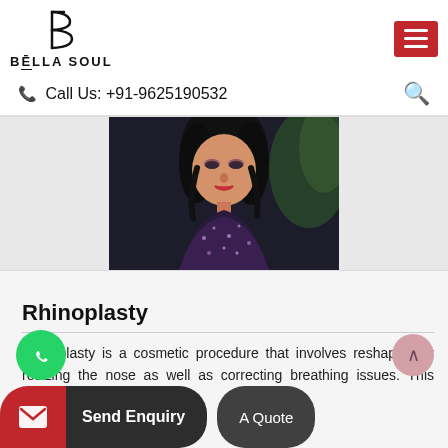BELLA SOUL — Call Us: +91-9625190532
[Figure (photo): Portrait photo of a woman with dark hair, wearing a dark sequined outfit, with green foliage in the background]
Rhinoplasty
Rhinoplasty is a cosmetic procedure that involves reshaping or resizing the nose as well as correcting breathing issues. This treatment improves the a...